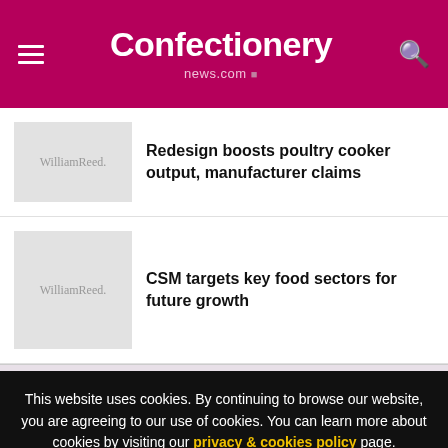Confectionery news.com
Redesign boosts poultry cooker output, manufacturer claims
CSM targets key food sectors for future growth
This website uses cookies. By continuing to browse our website, you are agreeing to our use of cookies. You can learn more about cookies by visiting our privacy & cookies policy page.
I Agree